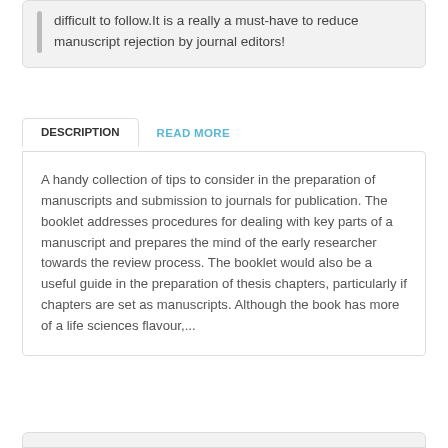difficult to follow.It is a really a must-have to reduce manuscript rejection by journal editors!
DESCRIPTION
READ MORE
A handy collection of tips to consider in the preparation of manuscripts and submission to journals for publication. The booklet addresses procedures for dealing with key parts of a manuscript and prepares the mind of the early researcher towards the review process. The booklet would also be a useful guide in the preparation of thesis chapters, particularly if chapters are set as manuscripts. Although the book has more of a life sciences flavour,...